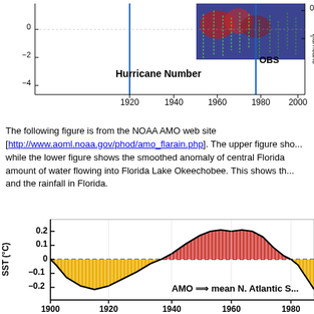[Figure (continuous-plot): Top portion of a hurricane number / observed (OBS) chart showing time series from approximately 1910 to 2005. X-axis shows years: 1920, 1940, 1960, 1980, 2000. Y-axis shows values from about -1 to 0 on left side. Labels include 'Hurricane Number' and 'OBS'. Two vertical blue lines at approximately 1930 and 1971.]
The following figure is from the NOAA AMO web site [http://www.aoml.noaa.gov/phod/amo_flarain.php]. The upper figure sho... while the lower figure shows the smoothed anomaly of central Florida amount of water flowing into Florida Lake Okeechobee. This shows th... and the rainfall in Florida.
[Figure (area-chart): AMO (Atlantic Multidecadal Oscillation) chart showing SST anomaly in degrees Celsius from 1900 to approximately 1985+. Y-axis labeled 'SST (°C)' ranges from about -0.2 to 0.2. Yellow/gold striped area for negative values (cold phase), red/orange striped area for positive values (warm phase). Dashed horizontal line at zero. Label reads 'AMO => mean N. Atlantic S...']